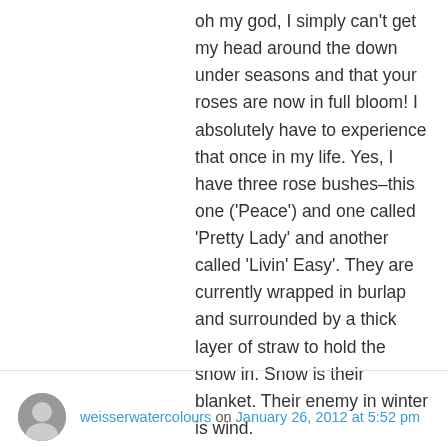oh my god, I simply can't get my head around the down under seasons and that your roses are now in full bloom! I absolutely have to experience that once in my life. Yes, I have three rose bushes–this one ('Peace') and one called 'Pretty Lady' and another called 'Livin' Easy'. They are currently wrapped in burlap and surrounded by a thick layer of straw to hold the snow in. Snow is their blanket. Their enemy in winter is wind.

You are so generous. And I hope all is well there, magsx2!
★ Like
weisserwatercolours on January 26, 2012 at 5:52 pm